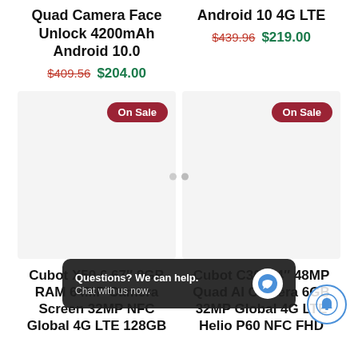Quad Camera Face Unlock 4200mAh Android 10.0
$409.56  $204.00
Android 10 4G LTE
$439.96  $219.00
[Figure (screenshot): Product image placeholder (light gray box) with 'On Sale' badge, left column]
[Figure (screenshot): Product image placeholder (light gray box) with 'On Sale' badge, right column]
Cubot X50 6.67″ 8GB RAM 64MP Camera Screen 32MP NFC Global 4G LTE 128GB
Cubot C30 6.4″ 48MP Quad AI Camera 6GB 32MP Global 4G LTE Helio P60 NFC FHD
Questions? We can help. Chat with us now.